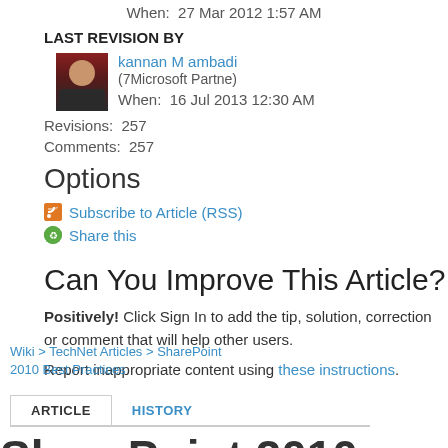When:  27 Mar 2012 1:57 AM
LAST REVISION BY
kannan M ambadi
(7Microsoft Partne)
When:  16 Jul 2013 12:30 AM
Revisions:  257
Comments:  257
Options
Subscribe to Article (RSS)
Share this
Can You Improve This Article?
Positively! Click Sign In to add the tip, solution, correction or comment that will help other users.
Report inappropriate content using these instructions.
Wiki > TechNet Articles > SharePoint 2010 Best Practices
ARTICLE | HISTORY